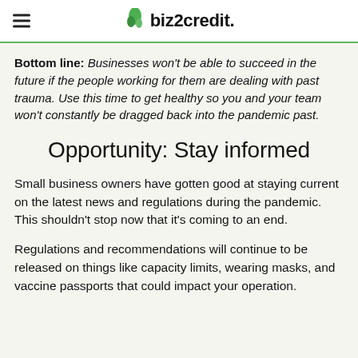biz2credit.
Bottom line: Businesses won't be able to succeed in the future if the people working for them are dealing with past trauma. Use this time to get healthy so you and your team won't constantly be dragged back into the pandemic past.
Opportunity: Stay informed
Small business owners have gotten good at staying current on the latest news and regulations during the pandemic. This shouldn't stop now that it's coming to an end.
Regulations and recommendations will continue to be released on things like capacity limits, wearing masks, and vaccine passports that could impact your operation.